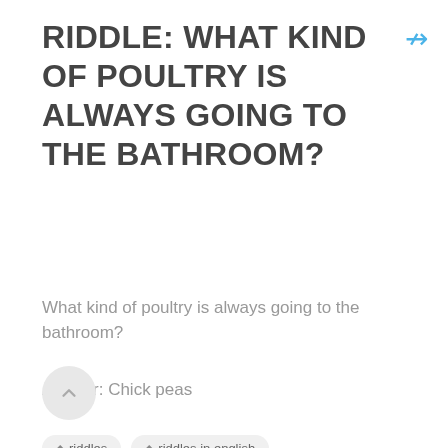RIDDLE: WHAT KIND OF POULTRY IS ALWAYS GOING TO THE BATHROOM?
What kind of poultry is always going to the bathroom?
Answer: Chick peas
riddles
riddles in english